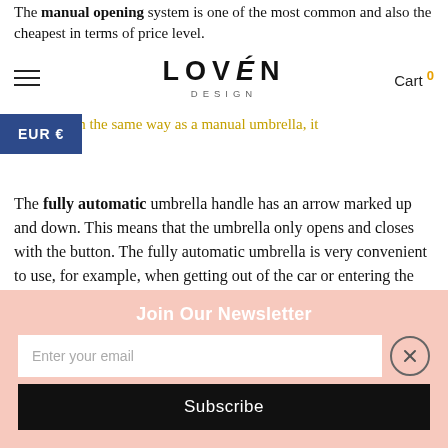The manual opening system is one of the most common and also the cheapest in terms of price level.
LOVÉN DESIGN — Cart 0
EUR €
...be closed in the same way as a manual umbrella, it manually.
The fully automatic umbrella handle has an arrow marked up and down. This means that the umbrella only opens and closes with the button. The fully automatic umbrella is very convenient to use, for example, when getting out of the car or entering the car. However, it takes a little more force to close the umbrella
Join Our Newsletter
Enter your email
Subscribe